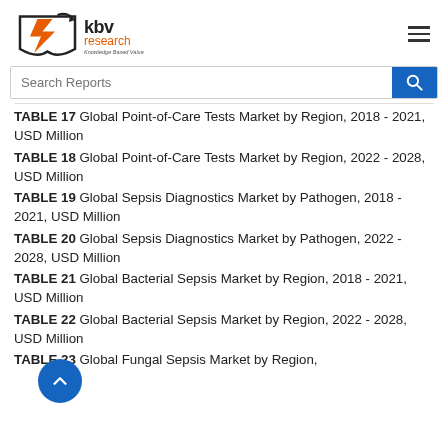KBV Research - Knowledge Based Value
TABLE 17 Global Point-of-Care Tests Market by Region, 2018 - 2021, USD Million
TABLE 18 Global Point-of-Care Tests Market by Region, 2022 - 2028, USD Million
TABLE 19 Global Sepsis Diagnostics Market by Pathogen, 2018 - 2021, USD Million
TABLE 20 Global Sepsis Diagnostics Market by Pathogen, 2022 - 2028, USD Million
TABLE 21 Global Bacterial Sepsis Market by Region, 2018 - 2021, USD Million
TABLE 22 Global Bacterial Sepsis Market by Region, 2022 - 2028, USD Million
TABLE 23 Global Fungal Sepsis Market by Region,